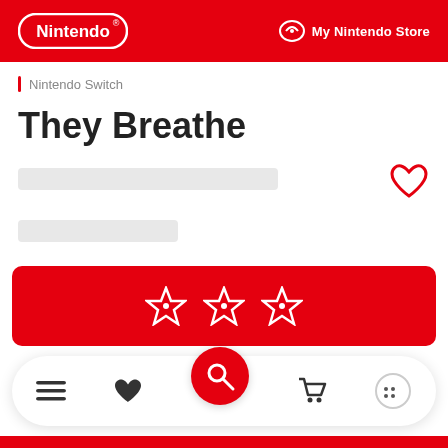Nintendo | My Nintendo Store
Nintendo Switch
They Breathe
[Figure (screenshot): Loading placeholder bars for price/details]
[Figure (infographic): Red button with three Nintendo star icons]
[Figure (infographic): Bottom navigation bar with menu, heart, search, cart, and more icons]